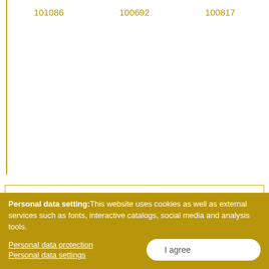101086   100692   100817
Search our website
Search for:
What?
Personal data setting: This website uses cookies as well as external services such as fonts, interactive catalogs, social media and analysis tools.
Personal data protection
Personal data settings
I agree